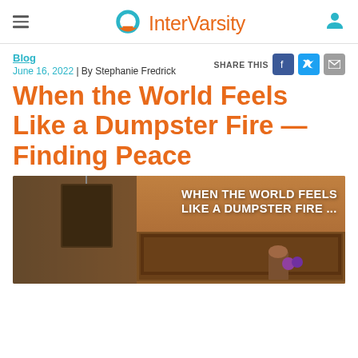InterVarsity
Blog
June 16, 2022 | By Stephanie Fredrick
When the World Feels Like a Dumpster Fire — Finding Peace
[Figure (photo): Warm orange-toned photograph of a dumpster or large metal container outdoors, with text overlay reading WHEN THE WORLD FEELS LIKE A DUMPSTER FIRE ... in white uppercase letters. A person with colorful clothing is visible near the container.]